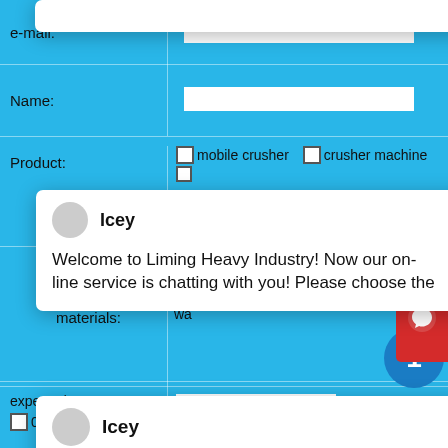e-mail:
Name:
mobile crusher   crusher machine   machine
Product: machine
[Figure (screenshot): Chat popup overlay from Liming Heavy Industry website showing avatar, name 'Icey', close button, and message: 'Welcome to Liming Heavy Industry! Now our on-line service is chatting with you! Please choose the']
granite   basalt   limesto...   Pe...   stone
Broken materials:
marble   concrete   Construction wa...
expected
0-5мм   5-100мм   100-300мм